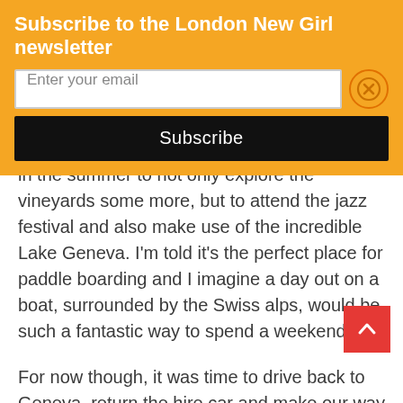Subscribe to the London New Girl newsletter
Enter your email
Subscribe
in the summer to not only explore the vineyards some more, but to attend the jazz festival and also make use of the incredible Lake Geneva. I’m told it’s the perfect place for paddle boarding and I imagine a day out on a boat, surrounded by the Swiss alps, would be such a fantastic way to spend a weekend!
For now though, it was time to drive back to Geneva, return the hire car and make our way back home (via the best Falafels in Geneva at Les Parfums de Beyrouth).
Have you ever been to Switzerland, or do you have